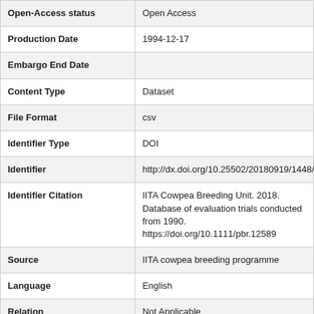| Field | Value |
| --- | --- |
| Open-Access status | Open Access |
| Production Date | 1994-12-17 |
| Embargo End Date |  |
| Content Type | Dataset |
| File Format | csv |
| Identifier Type | DOI |
| Identifier | http://dx.doi.org/10.25502/20180919/1448/BO |
| Identifier Citation | IITA Cowpea Breeding Unit. 2018. Database of evaluation trials conducted from 1990. https://doi.org/10.1111/pbr.12589 |
| Source | IITA cowpea breeding programme |
| Language | English |
| Relation | Not Applicable |